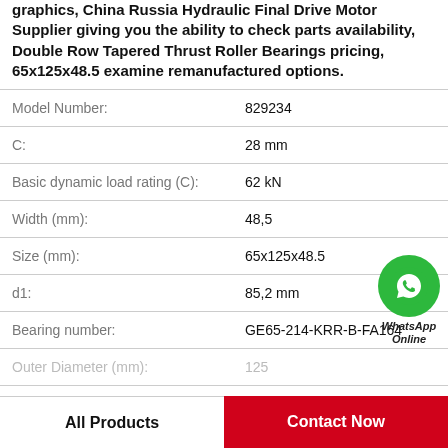graphics, China Russia Hydraulic Final Drive Motor Supplier giving you the ability to check parts availability, Double Row Tapered Thrust Roller Bearings pricing, 65x125x48.5 examine remanufactured options.
| Property | Value |
| --- | --- |
| Model Number: | 829234 |
| C: | 28 mm |
| Basic dynamic load rating (C): | 62 kN |
| Width (mm): | 48,5 |
| Size (mm): | 65x125x48.5 |
| d1: | 85,2 mm |
| Bearing number: | GE65-214-KRR-B-FA164 |
| Outer Diameter (mm): | 125 |
[Figure (logo): WhatsApp Online green circle icon with phone handset symbol, labeled WhatsApp Online in italic bold text]